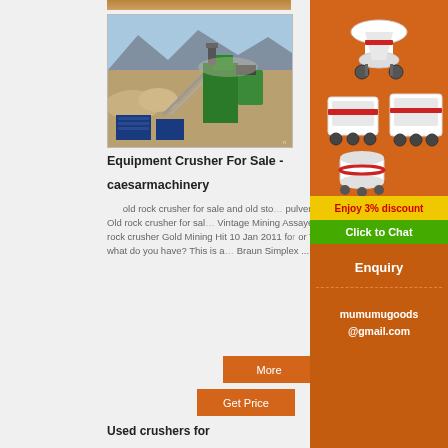[Figure (photo): Top partial photo of mining/quarry scene (cropped at top of page)]
[Figure (photo): Photo of a large crushing and screening plant with conveyor belts, green machinery, and blue shipping containers in a quarry/desert landscape]
Equipment Crusher For Sale -
caesarmachinery
old rock crusher for sale and old stone pulverizer price. Old rock crusher for sale Vintage Mining Assayer's Ore Jaw rock crusher Gold Mining Hit 10 Jan 2011 for or TRADE* what do you have? This is a Braun Simplex ...
[Figure (photo): Sidebar advertisement showing crusher and mining machinery equipment on orange background, with 'Enjoy 3% discount' yellow banner and 'Click to Chat' green button, Enquiry section with mumumugoods@gmail.com contact]
More
Get Price
Used crushers for